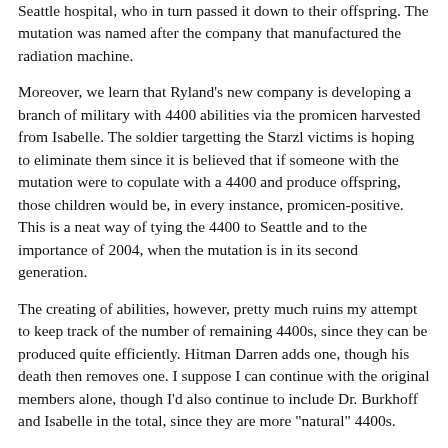Seattle hospital, who in turn passed it down to their offspring. The mutation was named after the company that manufactured the radiation machine.
Moreover, we learn that Ryland's new company is developing a branch of military with 4400 abilities via the promicen harvested from Isabelle. The soldier targetting the Starzl victims is hoping to eliminate them since it is believed that if someone with the mutation were to copulate with a 4400 and produce offspring, those children would be, in every instance, promicen-positive. This is a neat way of tying the 4400 to Seattle and to the importance of 2004, when the mutation is in its second generation.
The creating of abilities, however, pretty much ruins my attempt to keep track of the number of remaining 4400s, since they can be produced quite efficiently. Hitman Darren adds one, though his death then removes one. I suppose I can continue with the original members alone, though I'd also continue to include Dr. Burkhoff and Isabelle in the total, since they are more "natural" 4400s.